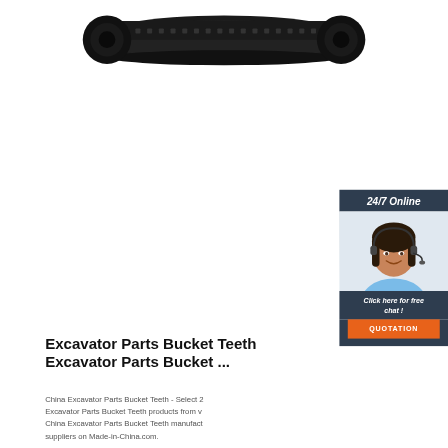[Figure (photo): Black rubber excavator track/undercarriage component viewed from above, elongated oval shape]
[Figure (photo): Customer service representative woman wearing headset, smiling, with 24/7 Online banner and chat/quotation call-to-action overlay]
Excavator Parts Bucket Teeth Excavator Parts Bucket ...
China Excavator Parts Bucket Teeth - Select 2 Excavator Parts Bucket Teeth products from v China Excavator Parts Bucket Teeth manufact suppliers on Made-in-China.com.
Get Price